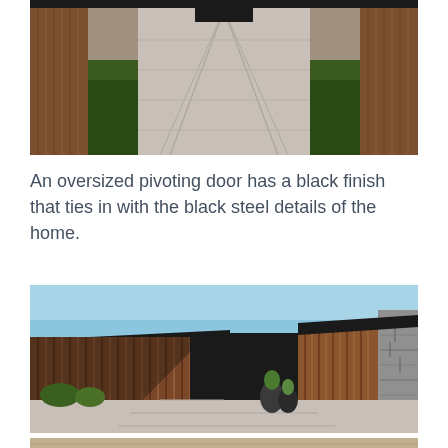[Figure (photo): Aerial perspective view of a long concrete tile driveway flanked by timber-clad walls and lush garden plantings, with a dark entrance gate at the far end]
An oversized pivoting door has a black finish that ties in with the black steel details of the home.
[Figure (photo): Exterior courtyard view of a modern home featuring vertical timber cladding walls, a large black pivoting entrance door, potted topiary plants, concrete paving, and stone wall cladding on the right]
[Figure (photo): Partial view of another exterior photo at the bottom of the page, showing timber and stone materials]